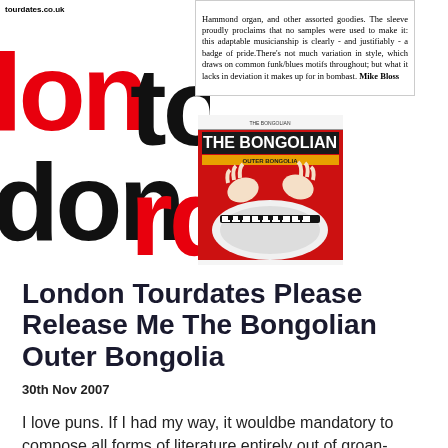[Figure (logo): London Tourdates website logo with large red and black stylized text 'london tourdates.co.uk']
Hammond organ, and other assorted goodies. The sleeve proudly proclaims that no samples were used to make it: this adaptable musicianship is clearly - and justifiably - a badge of pride.There's not much variation in style, which draws on common funk/blues motifs throughout; but what it lacks in deviation it makes up for in bombast. Mike Bloss
[Figure (photo): Album cover for The Bongolian - Outer Bongolia: red background with stylized keyboard/organ imagery and hands playing, bold white title text 'THE BONGOLIAN' and subtitle 'OUTER BONGOLIA']
London Tourdates Please Release Me The Bongolian Outer Bongolia
30th Nov 2007
I love puns. If I had my way, it wouldbe mandatory to compose all forms of literature entirely out of groan-